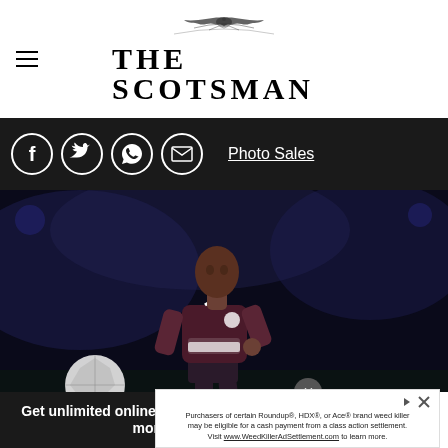THE SCOTSMAN
[Figure (logo): The Scotsman newspaper logo with ornamental crest above serif text THE SCOTSMAN]
[Figure (infographic): Dark social sharing bar with Facebook, Twitter, WhatsApp, Email icons and Photo Sales link]
[Figure (photo): Football player in maroon Heart of Midlothian FC jersey with Save the Children sponsor, running during a match at night]
Purchasers of certain Roundup®, HDX®, or Ace® brand weed killer may be eligible for a cash payment from a class action settlement. Visit www.WeedKillerAdSettlement.com to learn more.
Get unlimited online access from £3 per month
Subscribe Today